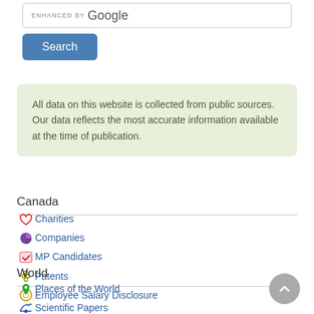[Figure (screenshot): Search input box with 'ENHANCED BY Google' text]
[Figure (screenshot): Blue Search button]
All data on this website is collected from public sources. Our data reflects the most accurate information available at the time of publication.
Canada
Charities
Companies
MP Candidates
Patents
Employee Salary Disclosure
World
Places of the World
Scientific Papers